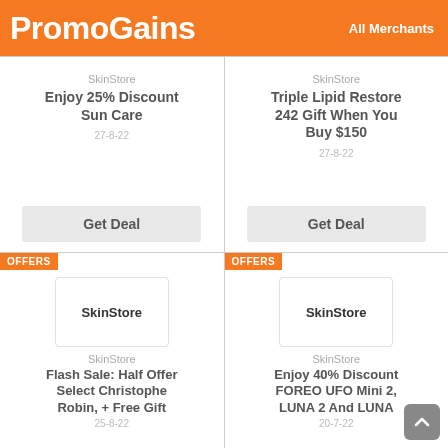PromoGains
All Merchants
SkinStore
Enjoy 25% Discount Sun Care
27-8-22
Get Deal
SkinStore
Triple Lipid Restore 242 Gift When You Buy $150
27-8-22
Get Deal
OFFERS
SkinStore
Flash Sale: Half Offer Select Christophe Robin, + Free Gift
25-8-22
OFFERS
SkinStore
Enjoy 40% Discount FOREO UFO Mini 2, LUNA 2 And LUNA
20-7-22